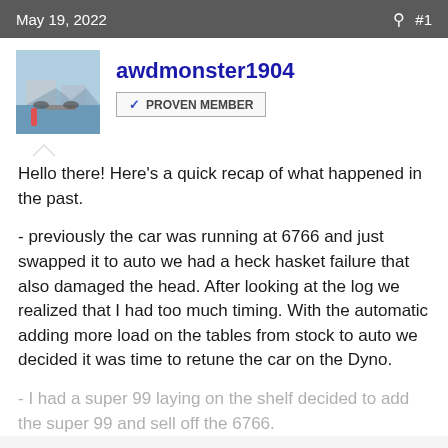May 19, 2022  #1
awdmonster1904
✓ PROVEN MEMBER
Hello there! Here's a quick recap of what happened in the past.
- previously the car was running at 6766 and just swapped it to auto we had a heck hasket failure that also damaged the head. After looking at the log we realized that I had too much timing. With the automatic adding more load on the tables from stock to auto we decided it was time to retune the car on the Dyno.
- I had a super 99 laying on the shelf decided to add the super 99 and sell off the 6766.